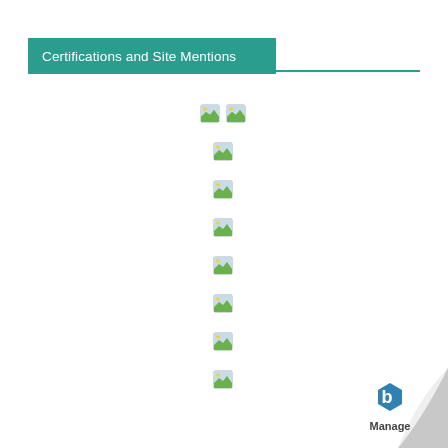Certifications and Site Mentions
[Figure (illustration): Two small placeholder image icons (broken/missing image thumbnails) side by side]
[Figure (illustration): Single small placeholder image icon (broken/missing image thumbnail)]
[Figure (illustration): Single small placeholder image icon]
[Figure (illustration): Single small placeholder image icon]
[Figure (illustration): Single small placeholder image icon]
[Figure (illustration): Single small placeholder image icon]
[Figure (illustration): Single small placeholder image icon]
[Figure (illustration): Single small placeholder image icon]
[Figure (logo): Manage Engine / b logo with page curl in bottom right corner]